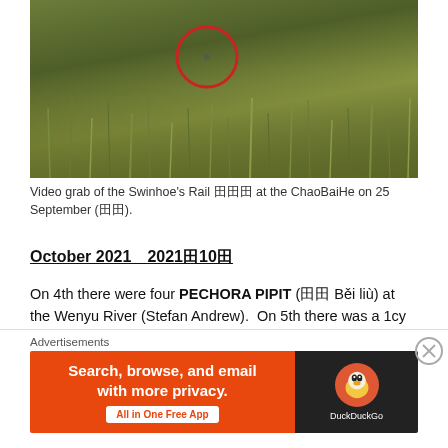[Figure (photo): Video grab of a bird (circled in red) in a grassy field at ChaoBaiHe]
Video grab of the Swinhoe's Rail 田田田 at the ChaoBaiHe on 25 September (田田).
October 2021  2021田10田
On 4th there were four PECHORA PIPIT (田田 Běi liù) at the Wenyu River (Stefan Andrew).  On 5th there was a 1cy NORTHERN HAWK CUCKOO at the
Advertisements
[Figure (screenshot): DuckDuckGo advertisement banner: Search, browse, and email with more privacy. All in One Free App]